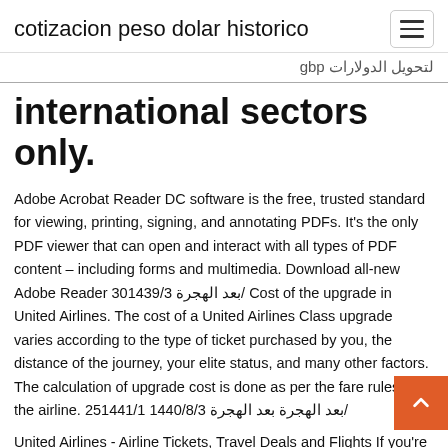cotizacion peso dolar historico
لتحويل الدولارات gbp
international sectors only.
Adobe Acrobat Reader DC software is the free, trusted standard for viewing, printing, signing, and annotating PDFs. It's the only PDF viewer that can open and interact with all types of PDF content – including forms and multimedia. Download all-new Adobe Reader 30بعد الهجرة 1439/3/ Cost of the upgrade in United Airlines. The cost of a United Airlines Class upgrade varies according to the type of ticket purchased by you, the distance of the journey, your elite status, and many other factors. The calculation of upgrade cost is done as per the fare rules of the airline. 25بعد الهجرة بعد الهجرة 1440/8/3 1441/1/
United Airlines - Airline Tickets, Travel Deals and Flights If you're seeing this message, that means JavaScript has been dis on your browser, please enable JS Starting in 2020, we'll begin